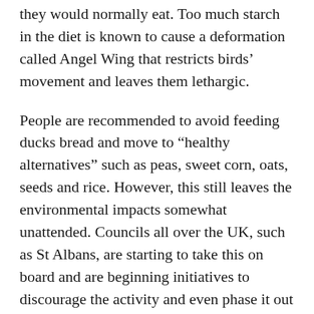they would normally eat. Too much starch in the diet is known to cause a deformation called Angel Wing that restricts birds' movement and leaves them lethargic.
People are recommended to avoid feeding ducks bread and move to “healthy alternatives” such as peas, sweet corn, oats, seeds and rice. However, this still leaves the environmental impacts somewhat unattended. Councils all over the UK, such as St Albans, are starting to take this on board and are beginning initiatives to discourage the activity and even phase it out altogether in the future. It does seem a shame to deprive children of the fun activity but for the sake of the environment